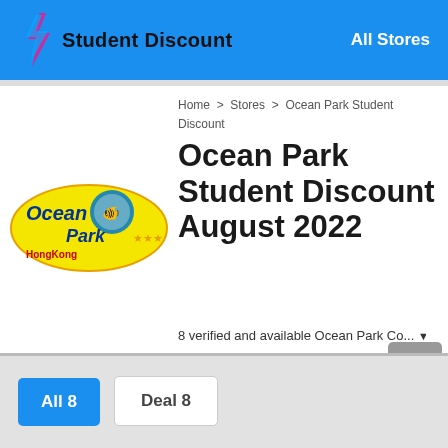Student Discount  All Stores
Home > Stores > Ocean Park Student Discount
Ocean Park Student Discount August 2022
[Figure (logo): Ocean Park Hong Kong logo with colorful text and sea creature mascot]
8 verified and available Ocean Park Co... ▼
Visit oceanpark.com.hk
All 8
Deal 8